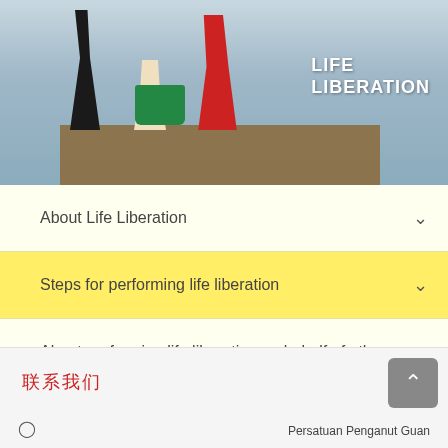[Figure (photo): Family releasing animals (life liberation) on a wooden dock by a lake. Two adults and a child releasing creatures from a green bucket/container. Text 'LIFE LIBERATION' appears in white on the right side of the image.]
About Life Liberation
Steps for performing life liberation
About performing life liberation on behalf of others
联系我们
Persatuan Penganut Guan